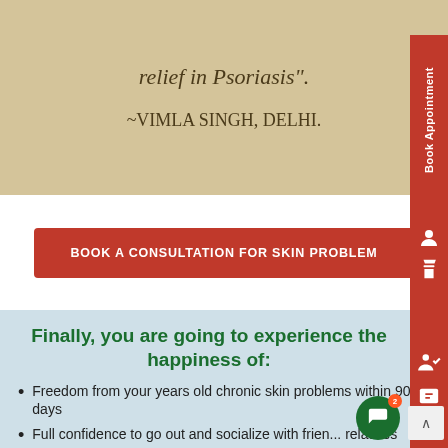relief in Psoriasis".
~VIMLA SINGH, DELHI.
BOOK A CONSULTATION FOR SKIN PROBLEM
Finally, you are going to experience the happiness of:
Freedom from your years old chronic skin problems within 90 days
Full confidence to go out and socialize with friends, relatives